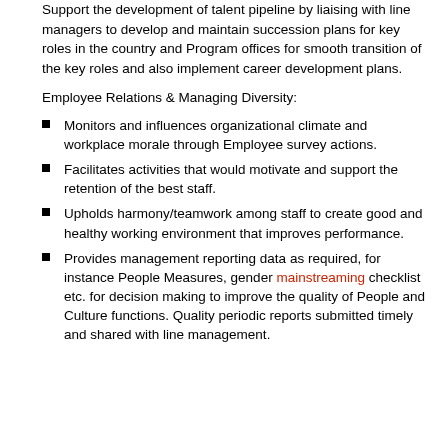Support the development of talent pipeline by liaising with line managers to develop and maintain succession plans for key roles in the country and Program offices for smooth transition of the key roles and also implement career development plans.
Employee Relations & Managing Diversity:
Monitors and influences organizational climate and workplace morale through Employee survey actions.
Facilitates activities that would motivate and support the retention of the best staff.
Upholds harmony/teamwork among staff to create good and healthy working environment that improves performance.
Provides management reporting data as required, for instance People Measures, gender mainstreaming checklist etc. for decision making to improve the quality of People and Culture functions. Quality periodic reports submitted timely and shared with line management.